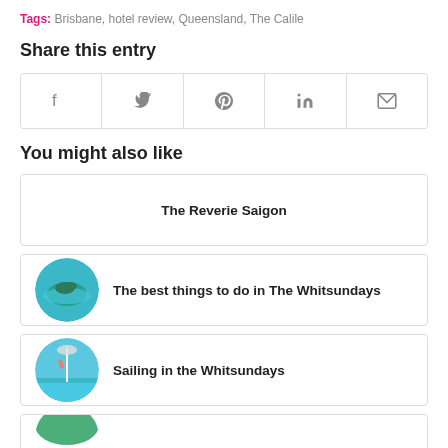Tags: Brisbane, hotel review, Queensland, The Calile
Share this entry
[Figure (infographic): Social sharing icons row: Facebook, Twitter, Pinterest, LinkedIn, Email]
You might also like
The Reverie Saigon
[Figure (photo): Circular aerial photo of a tropical island with turquoise water]
The best things to do in The Whitsundays
[Figure (photo): Circular photo of a person jumping off a boat into blue water]
Sailing in the Whitsundays
[Figure (photo): Circular photo partially visible at bottom, green scene]